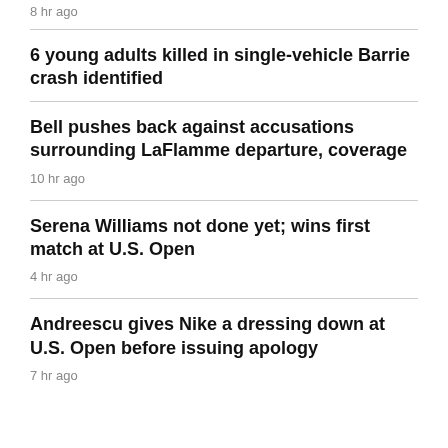8 hr ago
6 young adults killed in single-vehicle Barrie crash identified
Bell pushes back against accusations surrounding LaFlamme departure, coverage
10 hr ago
Serena Williams not done yet; wins first match at U.S. Open
4 hr ago
Andreescu gives Nike a dressing down at U.S. Open before issuing apology
7 hr ago